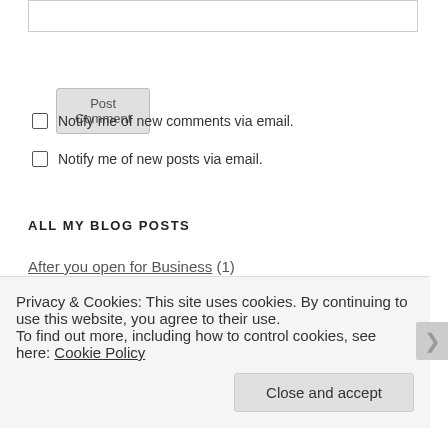[text input box]
Post Comment
Notify me of new comments via email.
Notify me of new posts via email.
ALL MY BLOG POSTS
After you open for Business (1)
Best Practices (14)
Brewhouse (35)
Privacy & Cookies: This site uses cookies. By continuing to use this website, you agree to their use.
To find out more, including how to control cookies, see here: Cookie Policy
Close and accept